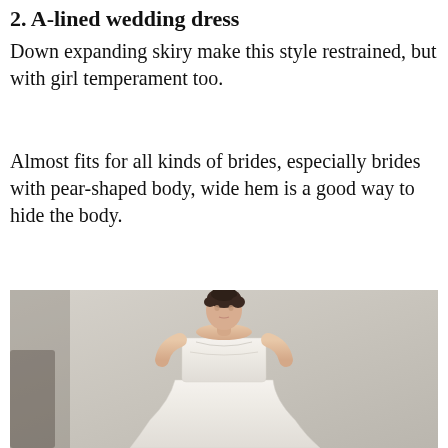2. A-lined wedding dress
Down expanding skiry make this style restrained, but with girl temperament too.
Almost fits for all kinds of brides, especially brides with pear-shaped body, wide hem is a good way to hide the body.
[Figure (photo): A model wearing a white strapless A-line wedding dress on a runway, with dark hair up, against a light gray background.]